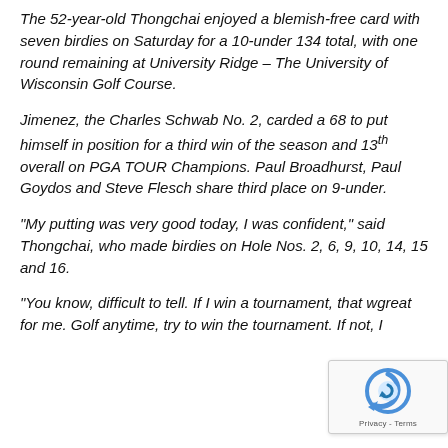The 52-year-old Thongchai enjoyed a blemish-free card with seven birdies on Saturday for a 10-under 134 total, with one round remaining at University Ridge – The University of Wisconsin Golf Course.
Jimenez, the Charles Schwab No. 2, carded a 68 to put himself in position for a third win of the season and 13th overall on PGA TOUR Champions. Paul Broadhurst, Paul Goydos and Steve Flesch share third place on 9-under.
“My putting was very good today, I was confident,” said Thongchai, who made birdies on Hole Nos. 2, 6, 9, 10, 14, 15 and 16.
“You know, difficult to tell. If I win a tournament, that w… great for me. Golf anytime, try to win the tournament. If not, I…
[Figure (other): reCAPTCHA widget overlay showing the reCAPTCHA logo and 'Privacy - Terms' text]